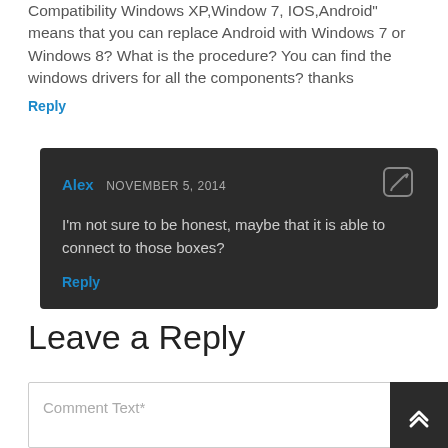Compatibility Windows XP,Window 7, IOS,Android" means that you can replace Android with Windows 7 or Windows 8? What is the procedure? You can find the windows drivers for all the components? thanks
Reply
Alex NOVEMBER 5, 2014 — I'm not sure to be honest, maybe that it is able to connect to those boxes?
Reply
Leave a Reply
Comment Text*